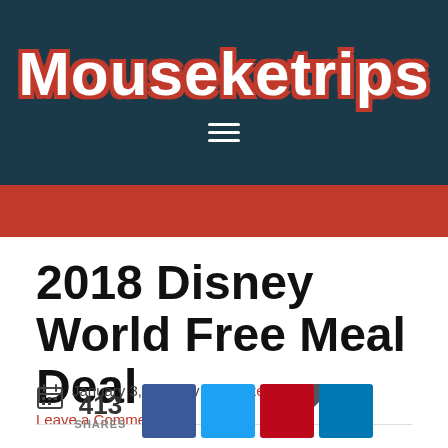Mouseketrips
2018 Disney World Free Meal Deal
January 3, 2018 by Mouseketrips   Leave a Comment
413 SHARES